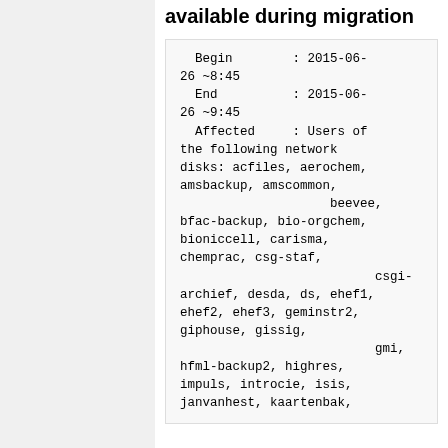available during migration
Begin        : 2015-06-26 ~8:45
  End          : 2015-06-26 ~9:45
  Affected     : Users of the following network disks: acfiles, aerochem, amsbackup, amscommon,
                            beevee,
bfac-backup, bio-orgchem, bioniccell, carisma, chemprac, csg-staf,
                                  csgi-archief, desda, ds, ehef1, ehef2, ehef3, geminstr2, giphouse, gissig,
                            gmi,
hfml-backup2, highres, impuls, introcie, isis, janvanhest, kaartenbak,